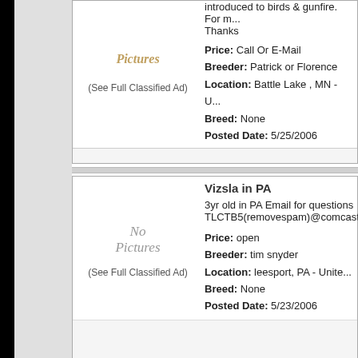introduced to birds & gunfire. For m... Thanks
Price: Call Or E-Mail
Breeder: Patrick or Florence
Location: Battle Lake , MN - U...
Breed: None
Posted Date: 5/25/2006
(See Full Classified Ad)
Vizsla in PA
3yr old in PA Email for questions TLCTB5(removespam)@comcast.
[Figure (other): No Pictures placeholder]
Price: open
Breeder: tim snyder
Location: leesport, PA - Unite...
Breed: None
Posted Date: 5/23/2006
(See Full Classified Ad)
Choc. Lab Stud Forsale 3 years o...
Due to my health condition I am fo...